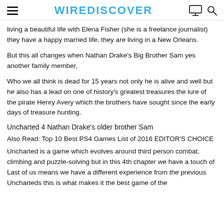WIREDISCOVER
living a beautiful life with Elena Fisher (she is a freelance journalist) they have a happy married life, they are living in a New Orleans.
But this all changes when Nathan Drake's Big Brother Sam yes another family member,
Who we all think is dead for 15 years not only he is alive and well but he also has a lead on one of history's greatest treasures the lure of the pirate Henry Avery which the brothers have sought since the early days of treasure hunting.
Uncharted 4 Nathan Drake's older brother Sam
Also Read: Top 10 Best PS4 Games List of 2016 EDITOR'S CHOICE
Uncharted is a game which evolves around third person combat, climbing and puzzle-solving but in this 4th chapter we have a touch of Last of us means we have a different experience from the previous Uncharteds this is what makes it the best game of the